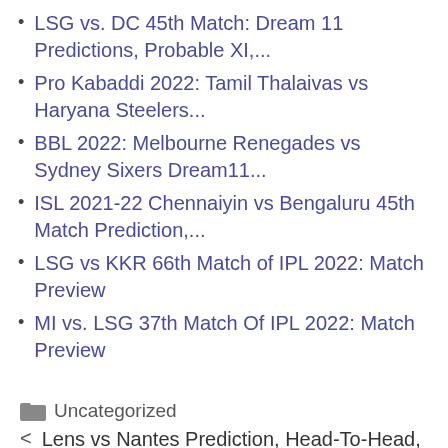LSG vs. DC 45th Match: Dream 11 Predictions, Probable XI,...
Pro Kabaddi 2022: Tamil Thalaivas vs Haryana Steelers...
BBL 2022: Melbourne Renegades vs Sydney Sixers Dream11...
ISL 2021-22 Chennaiyin vs Bengaluru 45th Match Prediction,...
LSG vs KKR 66th Match of IPL 2022: Match Preview
MI vs. LSG 37th Match Of IPL 2022: Match Preview
Uncategorized
< Lens vs Nantes Prediction, Head-To-Head, Lineup, Betting Tips, Where To Watch Live Today Ligue 1 2021-22 Match Details – April